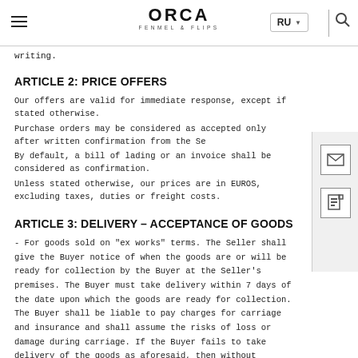ORCA FENMEL & FLIPS — RU navigation header
writing.
ARTICLE 2: PRICE OFFERS
Our offers are valid for immediate response, except if stated otherwise.
Purchase orders may be considered as accepted only after written confirmation from the Se
By default, a bill of lading or an invoice shall be considered as confirmation.
Unless stated otherwise, our prices are in EUROS, excluding taxes, duties or freight costs.
ARTICLE 3: DELIVERY – ACCEPTANCE OF GOODS
- For goods sold on "ex works" terms. The Seller shall give the Buyer notice of when the goods are or will be ready for collection by the Buyer at the Seller's premises. The Buyer must take delivery within 7 days of the date upon which the goods are ready for collection. The Buyer shall be liable to pay charges for carriage and insurance and shall assume the risks of loss or damage during carriage. If the Buyer fails to take delivery of the goods as aforesaid, then without prejudice to any other right or remedy available to the Seller, the Seller may:
(a) store the goods until actual delivery and charge the Buyer for the reasonable costs (including insurance) of storage; or